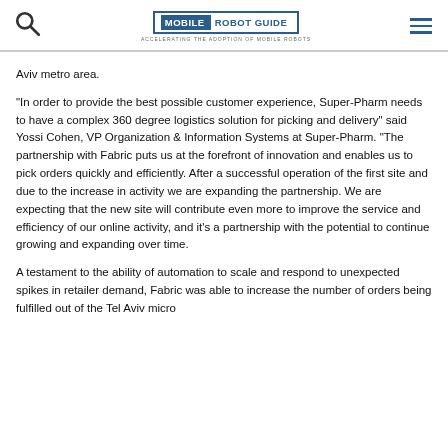MOBILE ROBOT GUIDE — ACCELERATING THE ADOPTION OF MOBILE ROBOTS
Aviv metro area.
“In order to provide the best possible customer experience, Super-Pharm needs to have a complex 360 degree logistics solution for picking and delivery” said Yossi Cohen, VP Organization & Information Systems at Super-Pharm. “The partnership with Fabric puts us at the forefront of innovation and enables us to pick orders quickly and efficiently. After a successful operation of the first site and due to the increase in activity we are expanding the partnership. We are expecting that the new site will contribute even more to improve the service and efficiency of our online activity, and it’s a partnership with the potential to continue growing and expanding over time.
A testament to the ability of automation to scale and respond to unexpected spikes in retailer demand, Fabric was able to increase the number of orders being fulfilled out of the Tel Aviv micro